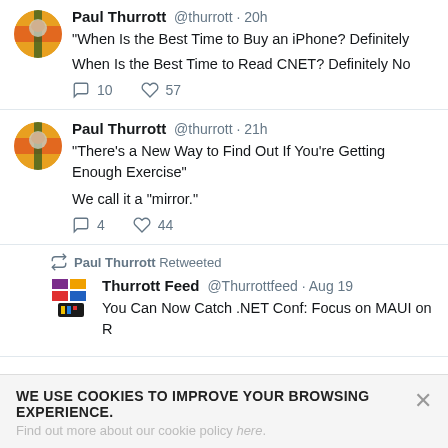Paul Thurrott @thurrott · 20h
"When Is the Best Time to Buy an iPhone? Definitely
When Is the Best Time to Read CNET? Definitely No
10  57
Paul Thurrott @thurrott · 21h
"There's a New Way to Find Out If You're Getting Enough Exercise"
We call it a "mirror."
4  44
Paul Thurrott Retweeted
Thurrott Feed @Thurrottfeed · Aug 19
You Can Now Catch .NET Conf: Focus on MAUI on R
WE USE COOKIES TO IMPROVE YOUR BROWSING EXPERIENCE.
Find out more about our cookie policy here.